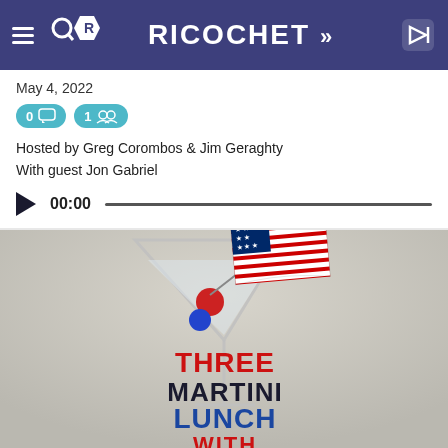Ricochet navigation bar
May 4, 2022
0 comments, 1 member
Hosted by Greg Corombos & Jim Geraghty
With guest Jon Gabriel
[Figure (other): Audio player showing 00:00 timestamp with play button and progress bar]
[Figure (illustration): Three Martini Lunch podcast artwork showing a martini glass with red, white and blue olive picks and an American flag, with text THREE MARTINI LUNCH WITH]